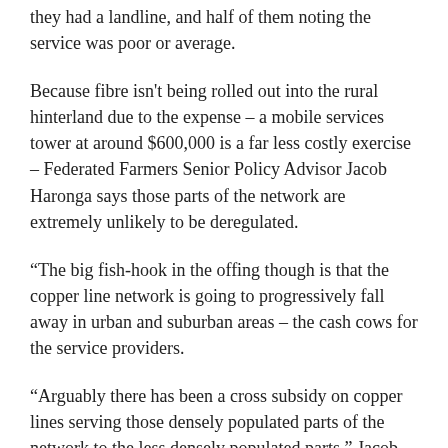they had a landline, and half of them noting the service was poor or average.
Because fibre isn't being rolled out into the rural hinterland due to the expense – a mobile services tower at around $600,000 is a far less costly exercise – Federated Farmers Senior Policy Advisor Jacob Haronga says those parts of the network are extremely unlikely to be deregulated.
“The big fish-hook in the offing though is that the copper line network is going to progressively fall away in urban and suburban areas – the cash cows for the service providers.
“Arguably there has been a cross subsidy on copper lines serving those densely populated parts of the network to the less densely populated parts,” Jacob says.
“There will be impacts for the sustainability of the copper